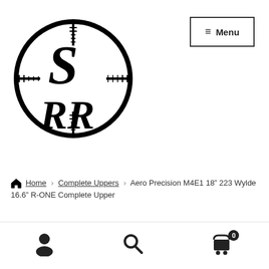[Figure (logo): SRR logo - a circular rifle scope crosshair design with bold letters SRR (S on top, RR on bottom) in black and white]
≡ Menu
Home › Complete Uppers › Aero Precision M4E1 18" 223 Wylde 16.6" R-ONE Complete Upper
SALE!